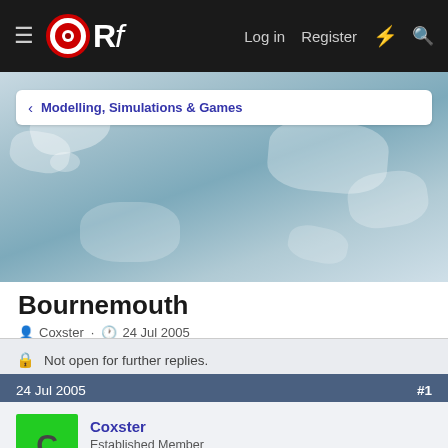ORf  Log in  Register
< Modelling, Simulations & Games
[Figure (map): Stylized blue/teal world map used as banner background]
Bournemouth
Coxster · 24 Jul 2005
Not open for further replies.
24 Jul 2005  #1
Coxster
Established Member